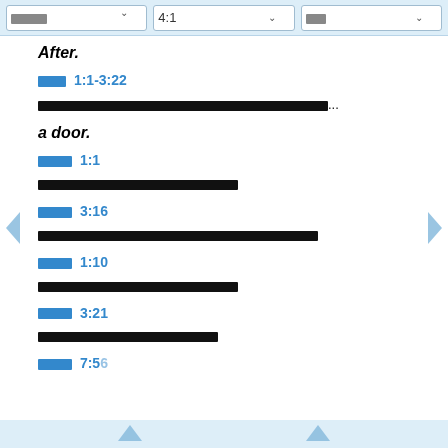□□□  4:1  □□
After.
□□□ 1:1-3:22
□□□□□□□□□□□□□□□□□□□□□□□□□□□□□□□□□□□□□□□□□□□...
a door.
□□□□ 1:1
□□□□□□□□□□□□□□□□□□□□□□□□□□□
□□□□ 3:16
□□□□□□□□□□□□□□□□□□□□□□□□□□□□□□□□□□□□□□□□□
□□□□ 1:10
□□□□□□□□□□□□□□□□□□□□□□□□□□□
□□□□ 3:21
□□□□□□□□□□□□□□□□□□□□□□□□□
□□□□ 7:56